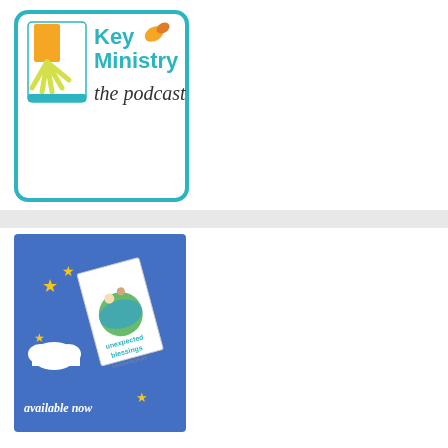[Figure (logo): Key Ministry the podcast logo: teal-bordered rounded rectangle containing a stylized open book/sunrise icon on the left with orange rectangle and yellow rays, and the text 'Key Ministry the podcast' on the right with a small orange pill/capsule graphic]
[Figure (illustration): Book advertisement on blue background: book cover for 'unexpected blessings' shown at an angle, with decorative yellow stars and white cloud cutouts, and white italic text 'available now' at bottom left]